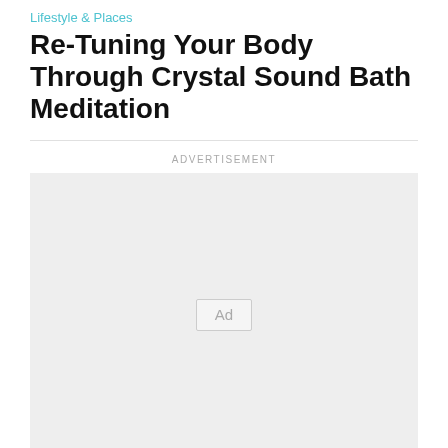Lifestyle & Places
Re-Tuning Your Body Through Crystal Sound Bath Meditation
[Figure (other): Advertisement placeholder box with 'Ad' label centered in a light gray rectangle, preceded by 'ADVERTISEMENT' text label above a horizontal divider line]